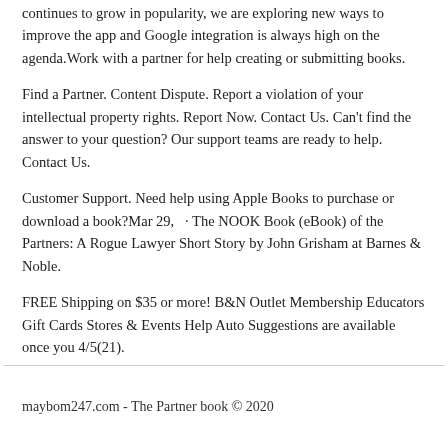continues to grow in popularity, we are exploring new ways to improve the app and Google integration is always high on the agenda. Work with a partner for help creating or submitting books.
Find a Partner. Content Dispute. Report a violation of your intellectual property rights. Report Now. Contact Us. Can't find the answer to your question? Our support teams are ready to help. Contact Us.
Customer Support. Need help using Apple Books to purchase or download a book?Mar 29,  · The NOOK Book (eBook) of the Partners: A Rogue Lawyer Short Story by John Grisham at Barnes & Noble.
FREE Shipping on $35 or more! B&N Outlet Membership Educators Gift Cards Stores & Events Help Auto Suggestions are available once you 4/5(21).
maybom247.com - The Partner book © 2020